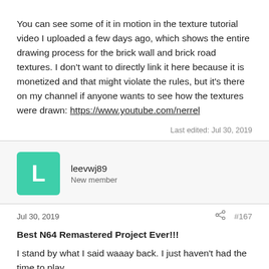You can see some of it in motion in the texture tutorial video I uploaded a few days ago, which shows the entire drawing process for the brick wall and brick road textures. I don't want to directly link it here because it is monetized and that might violate the rules, but it's there on my channel if anyone wants to see how the textures were drawn: https://www.youtube.com/nerrel
Last edited: Jul 30, 2019
leevwj89
New member
Jul 30, 2019
#167
Best N64 Remastered Project Ever!!!
I stand by what I said waaay back. I just haven't had the time to play